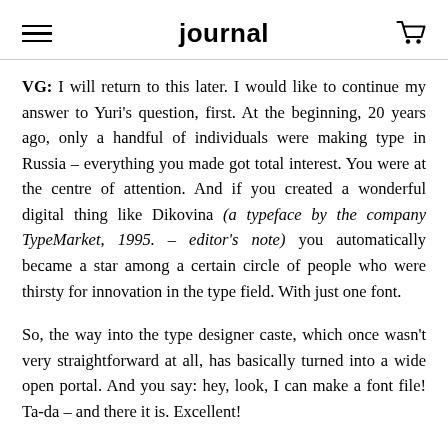journal
VG: I will return to this later. I would like to continue my answer to Yuri's question, first. At the beginning, 20 years ago, only a handful of individuals were making type in Russia – everything you made got total interest. You were at the centre of attention. And if you created a wonderful digital thing like Dikovina (a typeface by the company TypeMarket, 1995. – editor's note) you automatically became a star among a certain circle of people who were thirsty for innovation in the type field. With just one font.
So, the way into the type designer caste, which once wasn't very straightforward at all, has basically turned into a wide open portal. And you say: hey, look, I can make a font file! Ta-da – and there it is. Excellent!
Now, regarding competition in the industry: In the present situation, when the number of people who are able to create an interesting high-quality product is